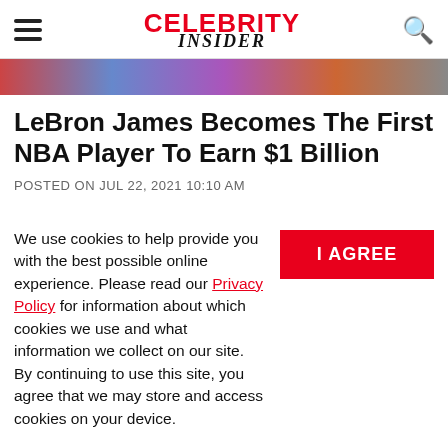CELEBRITY INSIDER
[Figure (photo): Partially visible colorful image strip at the top of the article]
LeBron James Becomes The First NBA Player To Earn $1 Billion
POSTED ON JUL 22, 2021 10:10 AM
We use cookies to help provide you with the best possible online experience. Please read our Privacy Policy for information about which cookies we use and what information we collect on our site. By continuing to use this site, you agree that we may store and access cookies on your device.